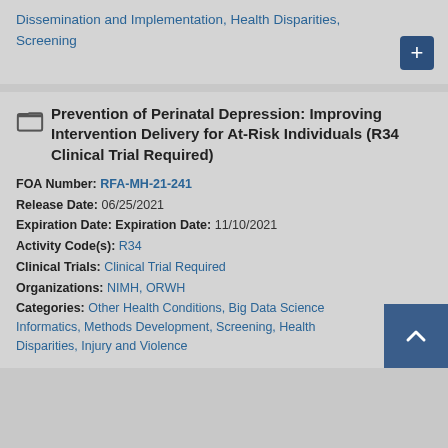Dissemination and Implementation, Health Disparities, Screening
Prevention of Perinatal Depression: Improving Intervention Delivery for At-Risk Individuals (R34 Clinical Trial Required)
FOA Number: RFA-MH-21-241
Release Date: 06/25/2021
Expiration Date: Expiration Date: 11/10/2021
Activity Code(s): R34
Clinical Trials: Clinical Trial Required
Organizations: NIMH, ORWH
Categories: Other Health Conditions, Big Data Science Informatics, Methods Development, Screening, Health Disparities, Injury and Violence